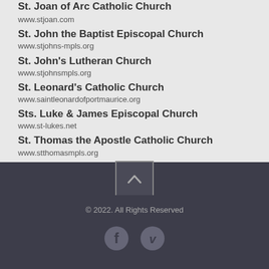St. Joan of Arc Catholic Church
www.stjoan.com
St. John the Baptist Episcopal Church
www.stjohns-mpls.org
St. John's Lutheran Church
www.stjohnsmpls.org
St. Leonard's Catholic Church
www.saintleonardofportmaurice.org
Sts. Luke & James Episcopal Church
www.st-lukes.net
St. Thomas the Apostle Catholic Church
www.stthomasmpls.org
© 2022. All Rights Reserved